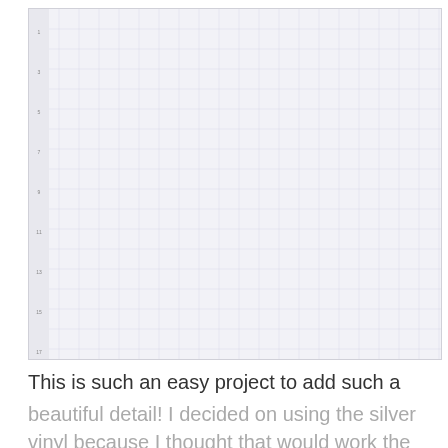[Figure (illustration): Screenshot of a design software (Cricut Design Space) showing a grid canvas with a repeating pattern of yellow-green leaf/vine motifs arranged in vertical columns. The pattern consists of many rows and columns of stylized leaf shapes with a dark olive outline on a light gray grid background with ruler markings on the left side.]
This is such an easy project to add such a beautiful detail! I decided on using the silver vinyl because I thought that would work the best for